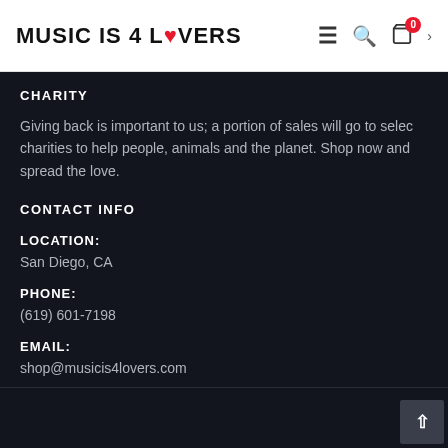MUSIC IS 4 LOVERS
CHARITY
Giving back is important to us; a portion of sales will go to selected charities to help people, animals and the planet. Shop now and spread the love.
CONTACT INFO
LOCATION:
San Diego, CA
PHONE:
(619) 601-7198
EMAIL:
shop@musicis4lovers.com